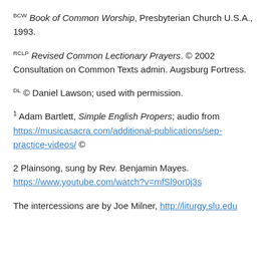BCW Book of Common Worship, Presbyterian Church U.S.A., 1993.
RCLP Revised Common Lectionary Prayers. © 2002 Consultation on Common Texts admin. Augsburg Fortress.
DL © Daniel Lawson; used with permission.
1 Adam Bartlett, Simple English Propers; audio from https://musicasacra.com/additional-publications/sep-practice-videos/ ©
2 Plainsong, sung by Rev. Benjamin Mayes. https://www.youtube.com/watch?v=mfSl9or0j3s
The intercessions are by Joe Milner, http://liturgy.slu.edu